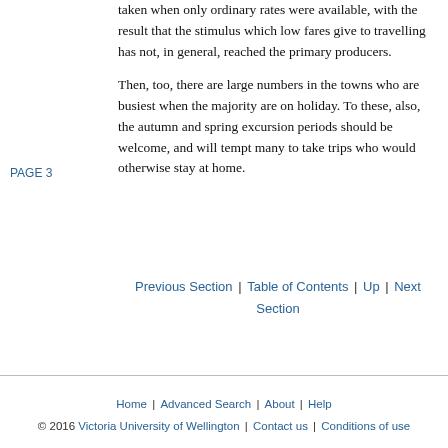taken when only ordinary rates were available, with the result that the stimulus which low fares give to travelling has not, in general, reached the primary producers.
Then, too, there are large numbers in the towns who are busiest when the majority are on holiday. To these, also, the autumn and spring excursion periods should be welcome, and will tempt many to take trips who would otherwise stay at home.
PAGE 3
Previous Section | Table of Contents | Up | Next Section
Home | Advanced Search | About | Help
© 2016 Victoria University of Wellington | Contact us | Conditions of use